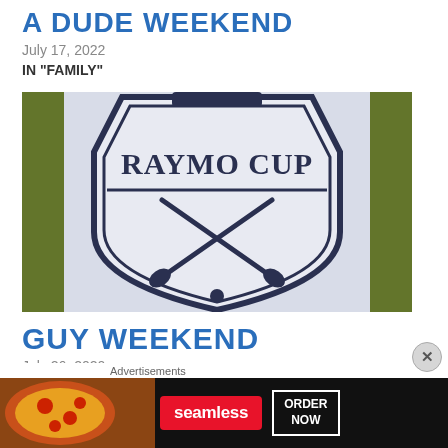A DUDE WEEKEND
July 17, 2022
IN "FAMILY"
[Figure (photo): A shield-shaped golf logo with crossed golf clubs and a golf ball, reading 'RAYMO CUP' in the center, set on a grass background]
GUY WEEKEND
July 26, 2020
[Figure (other): Advertisement banner showing pizza, Seamless logo in red, and 'ORDER NOW' button on dark background, with an X close button]